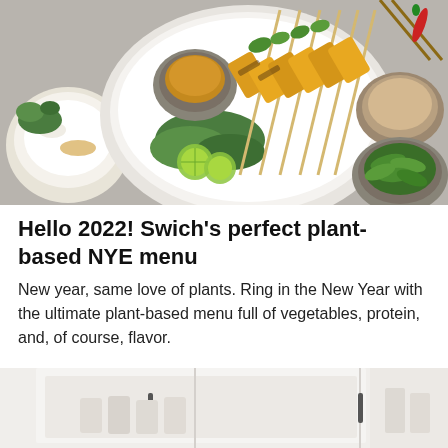[Figure (photo): Overhead shot of a white plate with golden turmeric tofu or paneer skewers garnished with cilantro and lime slices, alongside a bowl of curry sauce, rice with garnish, snap peas, peanut sauce, chopsticks, and chili peppers on a gray background.]
Hello 2022! Swich's perfect plant-based NYE menu
New year, same love of plants. Ring in the New Year with the ultimate plant-based menu full of vegetables, protein, and, of course, flavor.
[Figure (photo): Partial view of a kitchen drawer/cabinet storage area with white drawers and dark handles, showing neatly organized items inside.]